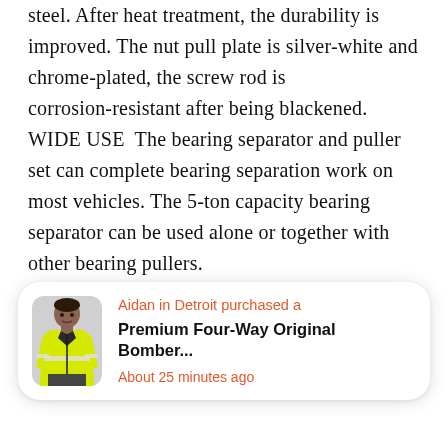steel. After heat treatment, the durability is improved. The nut pull plate is silver-white and chrome-plated, the screw rod is corrosion-resistant after being blackened. WIDE USE  The bearing separator and puller set can complete bearing separation work on most vehicles. The 5-ton capacity bearing separator can be used alone or together with other bearing pullers. PERFECT COMBINATION  The wheel bearing puller set comes two of the most widely used bearing separators ,the
[Figure (other): Notification popup card showing a person wearing a high-visibility yellow bomber jacket. Text reads: 'Aidan in Detroit purchased a' in orange, 'Premium Four-Way Original Bomber...' in bold black, 'About 25 minutes ago' in orange.]